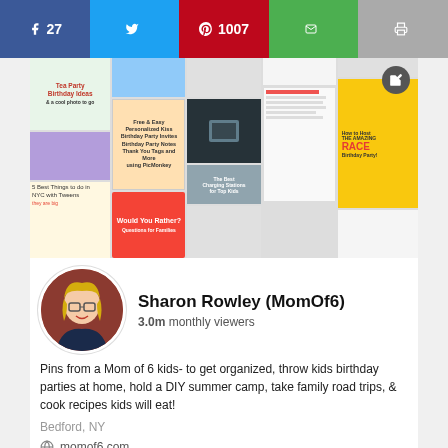[Figure (screenshot): Social media share bar with Facebook (27), Twitter, Pinterest (1007), Email, and Print buttons]
[Figure (screenshot): Pinterest profile page for Sharon Rowley (MomOf6) showing banner with pinned images, profile photo, 3.0m monthly viewers, bio text, Bedford NY location, momof6.com website, and navigation tabs]
Follow SharonMomOf6 on Pinterest!